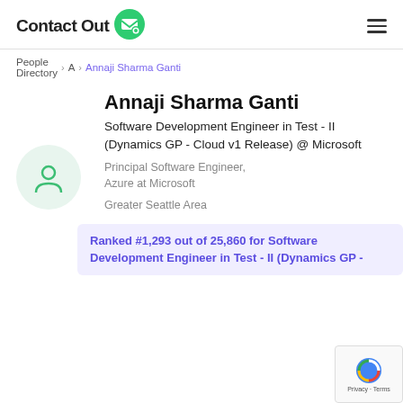ContactOut [logo] [hamburger menu]
People Directory > A > Annaji Sharma Ganti
Annaji Sharma Ganti
Software Development Engineer in Test - II (Dynamics GP - Cloud v1 Release) @ Microsoft
Principal Software Engineer, Azure at Microsoft
Greater Seattle Area
Ranked #1,293 out of 25,860 for Software Development Engineer in Test - II (Dynamics GP -